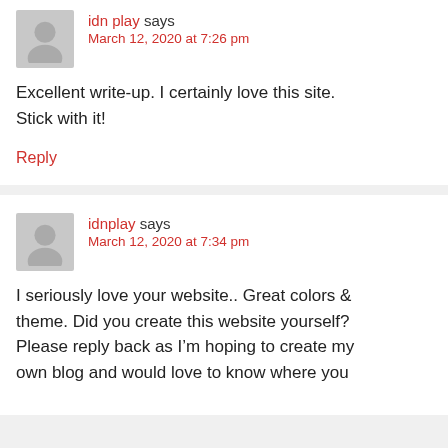idn play says
March 12, 2020 at 7:26 pm
Excellent write-up. I certainly love this site. Stick with it!
Reply
idnplay says
March 12, 2020 at 7:34 pm
I seriously love your website.. Great colors & theme. Did you create this website yourself? Please reply back as I'm hoping to create my own blog and would love to know where you